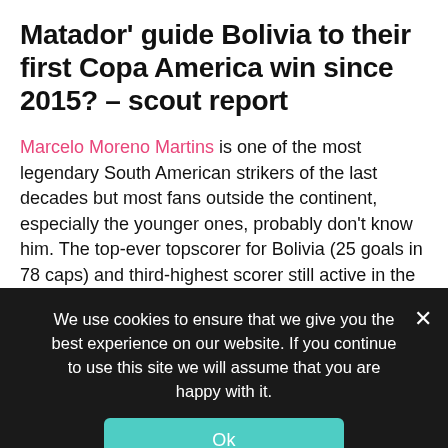Matador' guide Bolivia to their first Copa America win since 2015? – scout report
Marcelo Moreno Martins is one of the most legendary South American strikers of the last decades but most fans outside the continent, especially the younger ones, probably don't know him. The top-ever topscorer for Bolivia (25 goals in 78 caps) and third-highest scorer still active in the South America World Cup Qualifiers with 17 goals (only behind Luis Suárez and Lionel Messi) has had a very long career since leaving Bolivia aged just 17.
We use cookies to ensure that we give you the best experience on our website. If you continue to use this site we will assume that you are happy with it.